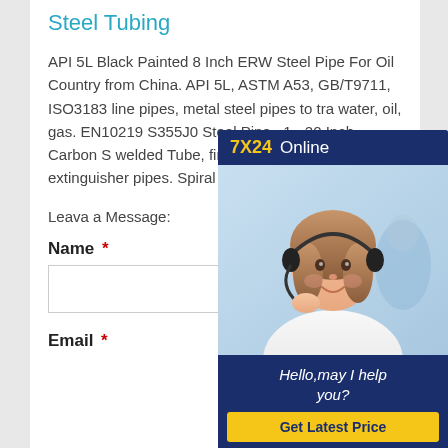Steel Tubing
API 5L Black Painted 8 Inch ERW Steel Pipe For Oil Country from China. API 5L, ASTM A53, GB/T9711, ISO3183 line pipes, metal steel pipes to tra water, oil, gas. EN10219 S355J0 Steel Pipe , 1 - 20 Inch Carbon S welded Tube, fire protection syste extinguisher pipes. Spiral Steel P
[Figure (infographic): Chat widget with '7X24 Online' header in dark blue and yellow, photo of a woman with headset (customer service), 'Hello, may I help you?' text and 'Get Latest Price' yellow button]
Leava a Message:
Name *
Email *